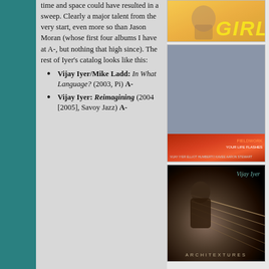time and space could have resulted in a sweep. Clearly a major talent from the very start, even more so than Jason Moran (whose first four albums I have at A-, but nothing that high since). The rest of Iyer's catalog looks like this:
Vijay Iyer/Mike Ladd: In What Language? (2003, Pi) A-
Vijay Iyer: Reimagining (2004 [2005], Savoy Jazz) A-
[Figure (illustration): Album cover showing 'GIRL' text in yellow italic bold font on a warm background]
[Figure (illustration): Album cover for Fieldwork 'Your Life Flashes' with grey upper portion and red/orange lower band. Credits: Vijay Iyer, Elliot Humberto Kavee, Aaron Stewart]
[Figure (illustration): Album cover for 'Architextures' by Vijay Iyer, showing a person near piano strings on dark background]